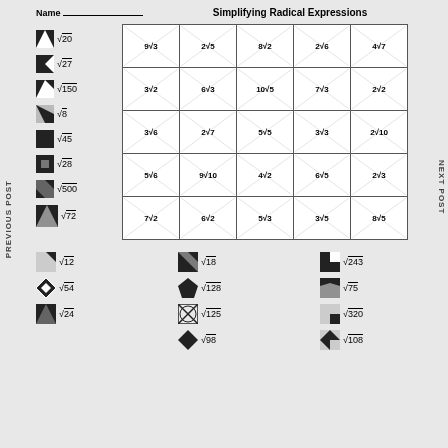Name _______________
Simplifying Radical Expressions
| col1 | col2 | col3 | col4 | col5 |
| --- | --- | --- | --- | --- |
| 9√3 | 2√5 | 8√2 | 2√6 | 4√7 |
| 3√2 | 6√3 | 10√5 | 7√3 | 2√2 |
| 3√6 | 2√7 | 5√5 | 3√3 | 2√10 |
| 5√6 | 9√10 | 4√2 | 6√5 | 2√3 |
| 7√2 | 6√2 | 5√3 | 3√5 | 8√5 |
√20
√27
√150
√8
√45
√28
√500
√72
√12
√54
√24
√18
√128
√125
√98
√243
√75
√320
√108